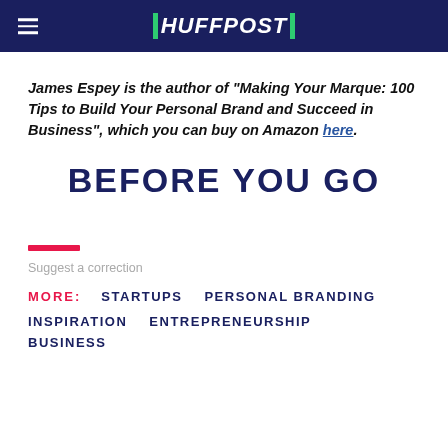HUFFPOST
James Espey is the author of "Making Your Marque: 100 Tips to Build Your Personal Brand and Succeed in Business", which you can buy on Amazon here.
BEFORE YOU GO
Suggest a correction
MORE:   STARTUPS   PERSONAL BRANDING   INSPIRATION   ENTREPRENEURSHIP   BUSINESS